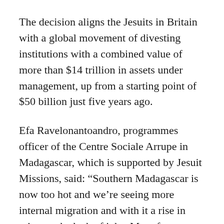The decision aligns the Jesuits in Britain with a global movement of divesting institutions with a combined value of more than $14 trillion in assets under management, up from a starting point of $50 billion just five years ago.
Efa Ravelonantoandro, programmes officer of the Centre Sociale Arrupe in Madagascar, which is supported by Jesuit Missions, said: “Southern Madagascar is now too hot and we’re seeing more internal migration and with it a rise in crime and a lack of jobs. More frequent and severe flooding across the country has increased diseases among the population.
"The Centre Arrupe is directly affected because the medical clinic has been flooded. We do have lots of